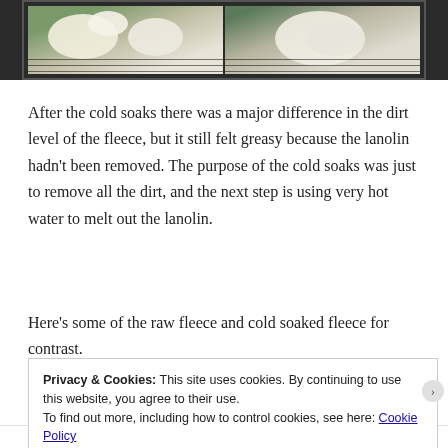[Figure (photo): Two side-by-side photos of white fluffy fleece on a dark wire rack/fence, against a green outdoor background. Left photo shows two clumps of raw fleece, right photo shows a single larger clump of fleece.]
After the cold soaks there was a major difference in the dirt level of the fleece, but it still felt greasy because the lanolin hadn't been removed. The purpose of the cold soaks was just to remove all the dirt, and the next step is using very hot water to melt out the lanolin.
Here's some of the raw fleece and cold soaked fleece for contrast.
Privacy & Cookies: This site uses cookies. By continuing to use this website, you agree to their use.
To find out more, including how to control cookies, see here: Cookie Policy
Close and accept
Follow